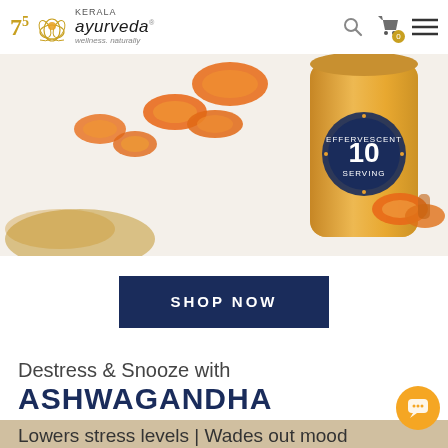Kerala Ayurveda - wellness. naturally
[Figure (photo): Product photo showing a gold/orange can labeled 'EFFERVESCENT 10 SERVING' surrounded by sliced turmeric roots on a white background with an orange-gold liquid splash on the left side.]
SHOP NOW
Destress & Snooze with
ASHWAGANDHA
Lowers stress levels | Wades out mood